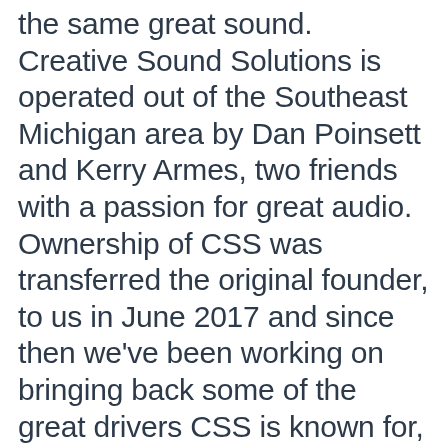the same great sound. Creative Sound Solutions is operated out of the Southeast Michigan area by Dan Poinsett and Kerry Armes, two friends with a passion for great audio. Ownership of CSS was transferred the original founder, to us in June 2017 and since then we've been working on bringing back some of the great drivers CSS is known for, as well as introducing some cool new products to make it easier to get a world class speaker at a great price.